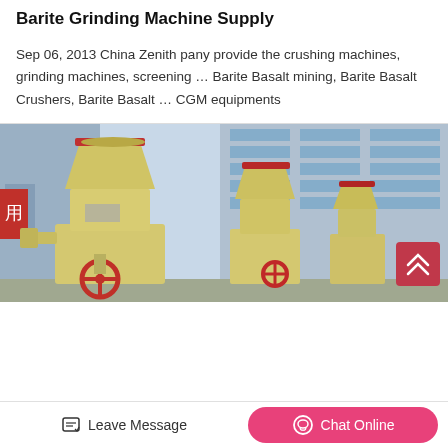Barite Grinding Machine Supply
Sep 06, 2013 China Zenith pany provide the crushing machines, grinding machines, screening … Barite Basalt mining, Barite Basalt Crushers, Barite Basalt … CGM equipments
[Figure (photo): Industrial barite grinding machines (yellow/cream colored) displayed outdoors in front of a multi-story building with large windows, showing large conical hopper mill equipment with red valve wheel]
Leave Message
Chat Online